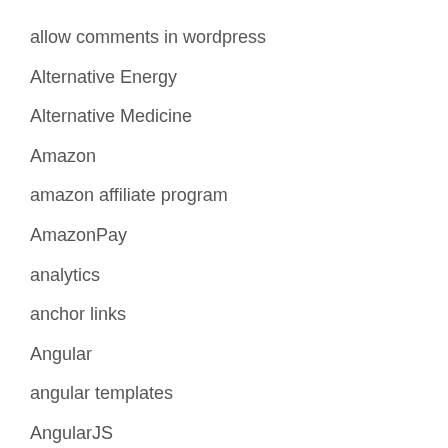allow comments in wordpress
Alternative Energy
Alternative Medicine
Amazon
amazon affiliate program
AmazonPay
analytics
anchor links
Angular
angular templates
AngularJS
Animal